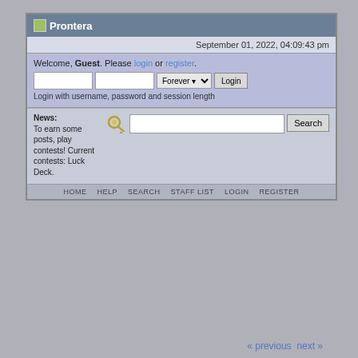Prontera
September 01, 2022, 04:09:43 pm
Welcome, Guest. Please login or register.
Login with username, password and session length
News: To earn some posts, play contests! Current contests: Luck Deck.
HOME   HELP   SEARCH   STAFF LIST   LOGIN   REGISTER
Seven year old drives grandmother's SUV
Prontera > Forum > Prontera Plaza > General Chat > News Channel 1337 > Seven year old drives grandmother's SUV
« previous next »